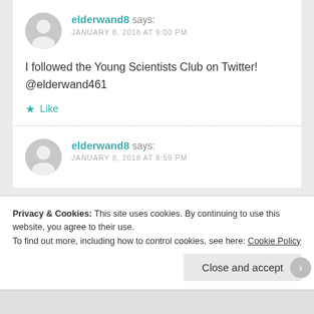elderwand8 says: JANUARY 8, 2018 AT 9:00 PM
I followed the Young Scientists Club on Twitter! @elderwand461
★ Like
elderwand8 says: JANUARY 8, 2018 AT 8:59 PM
Privacy & Cookies: This site uses cookies. By continuing to use this website, you agree to their use.
To find out more, including how to control cookies, see here: Cookie Policy
Close and accept